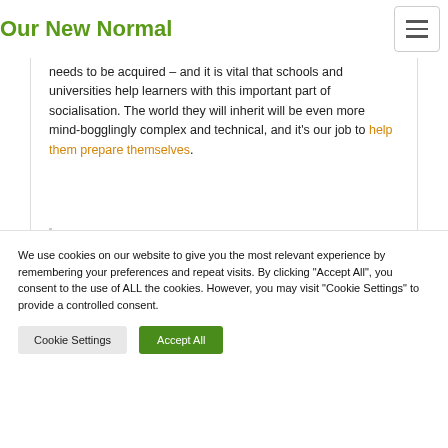Our New Normal
needs to be acquired – and it is vital that schools and universities help learners with this important part of socialisation. The world they will inherit will be even more mind-bogglingly complex and technical, and it's our job to help them prepare themselves.
This year I have learnt that you can't teach digital literacy if you don't develop it yourself.
We use cookies on our website to give you the most relevant experience by remembering your preferences and repeat visits. By clicking "Accept All", you consent to the use of ALL the cookies. However, you may visit "Cookie Settings" to provide a controlled consent.